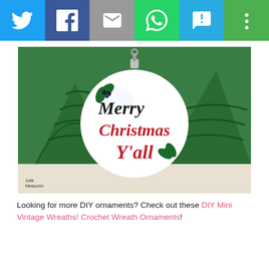[Figure (other): Social sharing bar with Twitter, Facebook, Email, WhatsApp, SMS, and More buttons]
[Figure (photo): White Christmas ornament with 'Merry Christmas Y'all' text in red and black script, holly decorations, set against green yarn cone trees. Watermark reads Julie Measures.]
Looking for more DIY ornaments? Check out these DIY Mini Vintage Wreaths! Crochet Wreath Ornaments!